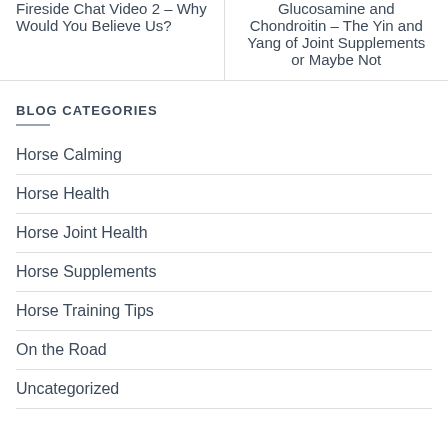Fireside Chat Video 2 – Why Would You Believe Us?
Glucosamine and Chondroitin – The Yin and Yang of Joint Supplements or Maybe Not
BLOG CATEGORIES
Horse Calming
Horse Health
Horse Joint Health
Horse Supplements
Horse Training Tips
On the Road
Uncategorized